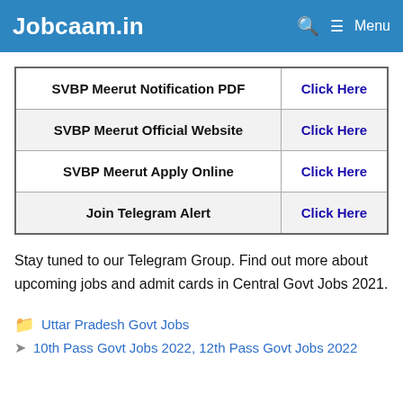Jobcaam.in  Menu
| Label | Link |
| --- | --- |
| SVBP Meerut Notification PDF | Click Here |
| SVBP Meerut Official Website | Click Here |
| SVBP Meerut Apply Online | Click Here |
| Join Telegram Alert | Click Here |
Stay tuned to our Telegram Group. Find out more about upcoming jobs and admit cards in Central Govt Jobs 2021.
Uttar Pradesh Govt Jobs
10th Pass Govt Jobs 2022, 12th Pass Govt Jobs 2022